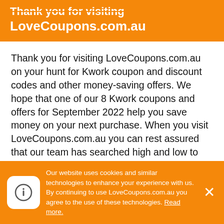Thank you for visiting LoveCoupons.com.au
Thank you for visiting LoveCoupons.com.au on your hunt for Kwork coupon and discount codes and other money-saving offers. We hope that one of our 8 Kwork coupons and offers for September 2022 help you save money on your next purchase. When you visit LoveCoupons.com.au you can rest assured that our team has searched high and low to find all available Kwork deals. This includes checking the Kwork social accounts like Facebook, Twitter and Instagram, visiting blogs and forums related to Kwork, and even checking other top deal sites for the latest Kwork
Our website uses cookies and similar technologies to enhance your experience with us. By continuing to use LoveCoupons.com.au you agree to the use of these technologies. Read more.